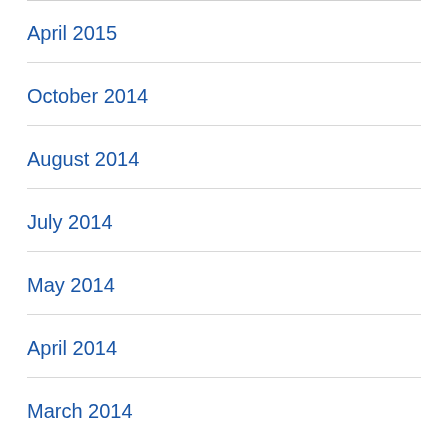April 2015
October 2014
August 2014
July 2014
May 2014
April 2014
March 2014
February 2014
January 2014